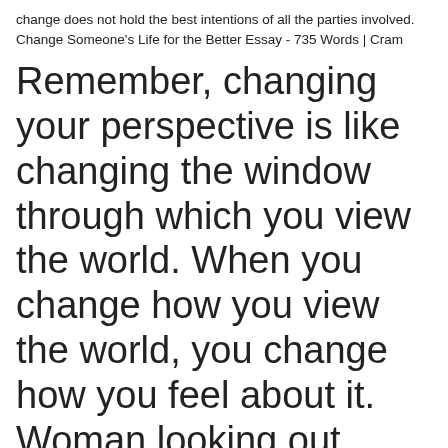change does not hold the best intentions of all the parties involved. Change Someone's Life for the Better Essay - 735 Words | Cram
Remember, changing your perspective is like changing the window through which you view the world. When you change how you view the world, you change how you feel about it. Woman looking out window image via Shutterstock
26 Apr 2016 ... Change Your Perspective, Change Your Life .... While Perpay enjoys an A-plus rating on the Better